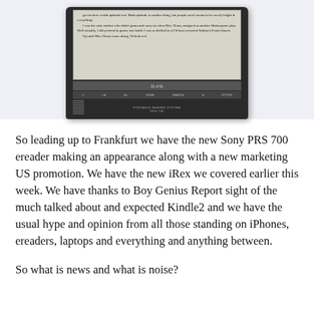[Figure (photo): Photo of a Sony PRS-700 e-reader device showing an e-book page (31 of 61) with text content visible on the e-ink screen, navigation buttons at bottom, displayed against a light blue-grey background]
So leading up to Frankfurt we have the new Sony PRS 700 ereader making an appearance along with a new marketing US promotion. We have the new iRex we covered earlier this week. We have thanks to Boy Genius Report sight of the much talked about and expected Kindle2 and we have the usual hype and opinion from all those standing on iPhones, ereaders, laptops and everything and anything between.
So what is news and what is noise?